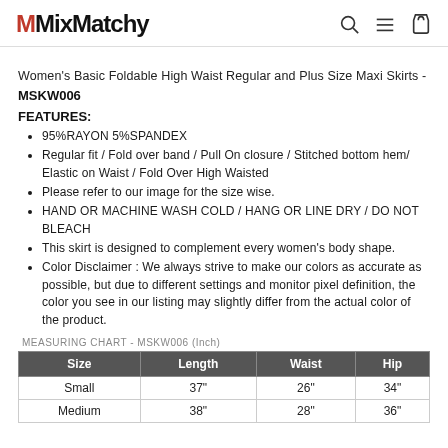MixMatchy
Women's Basic Foldable High Waist Regular and Plus Size Maxi Skirts - MSKW006
FEATURES:
95%RAYON 5%SPANDEX
Regular fit / Fold over band / Pull On closure / Stitched bottom hem/ Elastic on Waist / Fold Over High Waisted
Please refer to our image for the size wise.
HAND OR MACHINE WASH COLD / HANG OR LINE DRY / DO NOT BLEACH
This skirt is designed to complement every women's body shape.
Color Disclaimer : We always strive to make our colors as accurate as possible, but due to different settings and monitor pixel definition, the color you see in our listing may slightly differ from the actual color of the product.
MEASURING CHART - MSKW006 (Inch)
| Size | Length | Waist | Hip |
| --- | --- | --- | --- |
| Small | 37" | 26" | 34" |
| Medium | 38" | 28" | 36" |